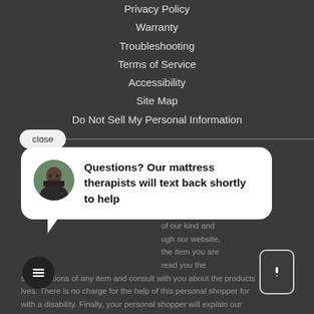Privacy Policy
Warranty
Troubleshooting
Terms of Service
Accessibility
Site Map
Do Not Sell My Personal Information
[Figure (screenshot): Chat popup with avatar of bearded man and text: Questions? Our mattress therapists will text back shortly to help]
...over one million times, it is not the descriptions disability we are phone line at of our kind and ugh our website, the item you are read you the specifications of any item and consult with you about the products lves. There is no charge for the help of this personal shopper for with a disability. Finally, your personal shopper will explain our Policy and Terms of Service, and help you place an order if you so desire.